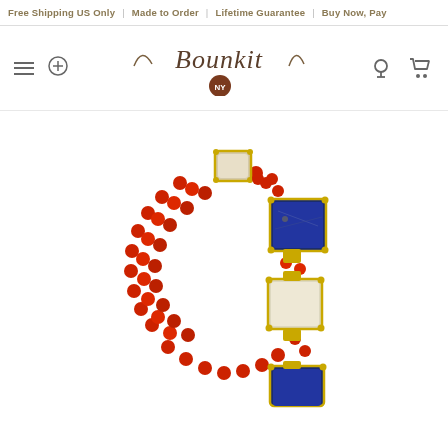Free Shipping US Only | Made to Order | Lifetime Guarantee | Buy Now, Pay
[Figure (logo): Bounkit NY logo with decorative script lettering and NY badge]
[Figure (photo): A beaded bracelet with red coral beads and gold-set gemstone squares including lapis lazuli and white/cream stones, photographed on white background]